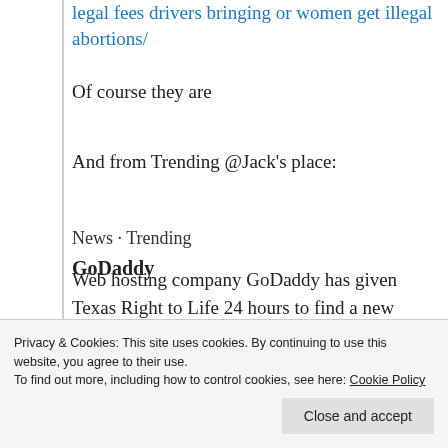legal fees drivers bringing or women get illegal abortions/
Of course they are
And from Trending @Jack's place:
News · Trending
GoDaddy
Web hosting company GoDaddy has given Texas Right to Life 24 hours to find a new hosting provider before cutting off service for violating
Privacy & Cookies: This site uses cookies. By continuing to use this website, you agree to their use. To find out more, including how to control cookies, see here: Cookie Policy
Close and accept
https://